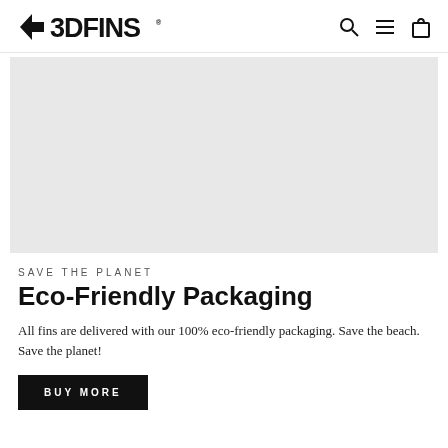3DFINS
[Figure (photo): Large light grey placeholder hero image area]
SAVE THE PLANET
Eco-Friendly Packaging
All fins are delivered with our 100% eco-friendly packaging. Save the beach. Save the planet!
BUY MORE